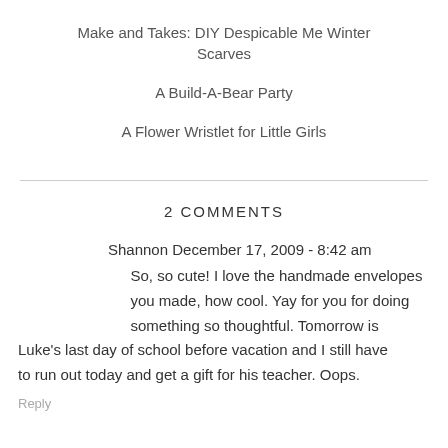Make and Takes: DIY Despicable Me Winter Scarves
A Build-A-Bear Party
A Flower Wristlet for Little Girls
2 COMMENTS
Shannon December 17, 2009 - 8:42 am
So, so cute! I love the handmade envelopes you made, how cool. Yay for you for doing something so thoughtful. Tomorrow is Luke's last day of school before vacation and I still have to run out today and get a gift for his teacher. Oops.
Reply